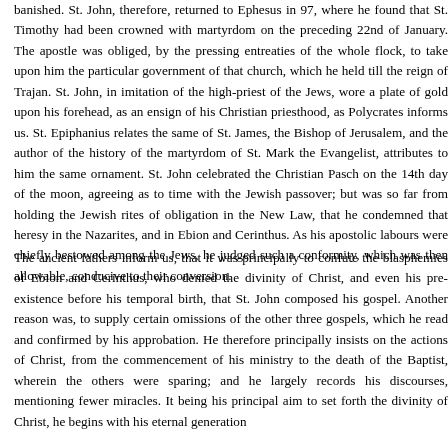banished. St. John, therefore, returned to Ephesus in 97, where he found that St. Timothy had been crowned with martyrdom on the preceding 22nd of January. The apostle was obliged, by the pressing entreaties of the whole flock, to take upon him the particular government of that church, which he held till the reign of Trajan. St. John, in imitation of the high-priest of the Jews, wore a plate of gold upon his forehead, as an ensign of his Christian priesthood, as Polycrates informs us. St. Epiphanius relates the same of St. James, the Bishop of Jerusalem, and the author of the history of the martyrdom of St. Mark the Evangelist, attributes to him the same ornament. St. John celebrated the Christian Pasch on the 14th day of the moon, agreeing as to time with the Jewish passover; but was so far from holding the Jewish rites of obligation in the New Law, that he condemned that heresy in the Nazarites, and in Ebion and Cerinthus. As his apostolic labours were chiefly bestowed among the Jews, he judged such a conformity, which was then allowable, conducive to their conversion.
The ancient fathers inform us, that it was principally to confute the blasphemies of Ebion and Cerinthus, who denied the divinity of Christ, and even his pre-existence before his temporal birth, that St. John composed his gospel. Another reason was, to supply certain omissions of the other three gospels, which he read and confirmed by his approbation. He therefore principally insists on the actions of Christ, from the commencement of his ministry to the death of the Baptist, wherein the others were sparing; and he largely records his discourses, mentioning fewer miracles. It being his principal aim to set forth the divinity of Christ, he begins with his eternal generation